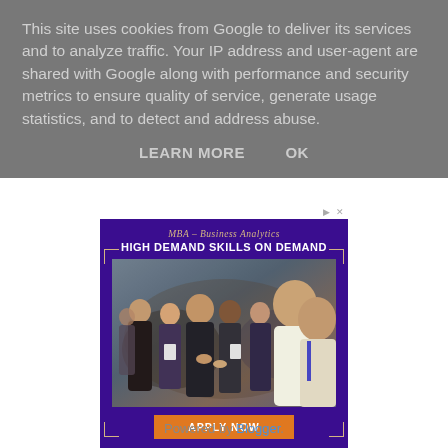This site uses cookies from Google to deliver its services and to analyze traffic. Your IP address and user-agent are shared with Google along with performance and security metrics to ensure quality of service, generate usage statistics, and to detect and address abuse.
LEARN MORE    OK
[Figure (other): Advertisement for High Point University MBA in Business Analytics program. Shows text 'MBA – Business Analytics', 'HIGH DEMAND SKILLS ON DEMAND', a photo of business professionals networking, an orange 'APPLY NOW' button, and 'High Point University' branding on a purple background.]
Powered by Blogger.